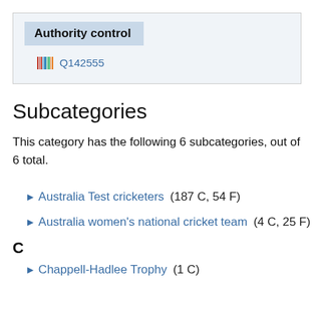Authority control
Q142555
Subcategories
This category has the following 6 subcategories, out of 6 total.
► Australia Test cricketers (187 C, 54 F)
► Australia women's national cricket team (4 C, 25 F)
C
► Chappell-Hadlee Trophy (1 C)